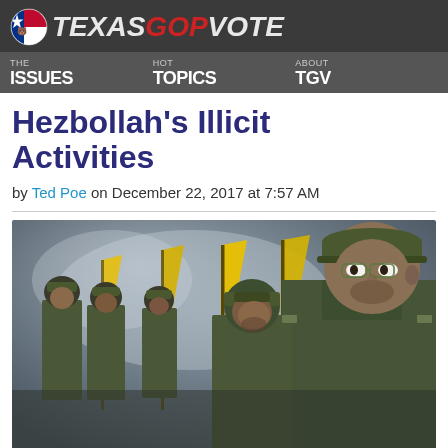TEXASGOPVOTE — THE ISSUES | HOT TOPICS | ABOUT TGV
Hezbollah's Illicit Activities
by Ted Poe on December 22, 2017 at 7:57 AM
[Figure (photo): Hezbollah fighters in military uniform marching in formation, holding yellow Hezbollah flags with green emblem.]